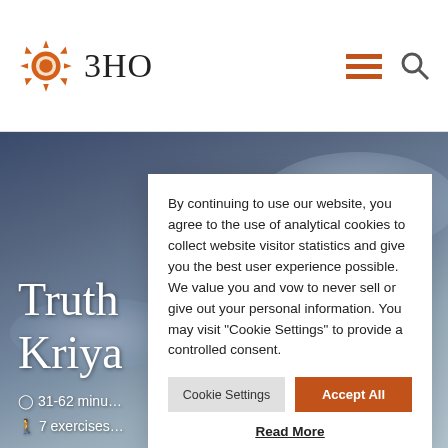3HO
[Figure (illustration): Dark blue-grey cloudy sky background behind the main hero section]
Truth Kriya
31-62 minu
7 exercises
By continuing to use our website, you agree to the use of analytical cookies to collect website visitor statistics and give you the best user experience possible. We value you and vow to never sell or give out your personal information. You may visit "Cookie Settings" to provide a controlled consent.
Cookie Settings | Accept All
Read More